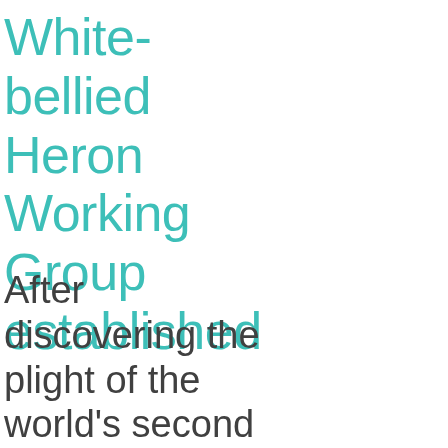White-bellied Heron Working Group established
After discovering the plight of the world's second largest heron and one of the most threatened birds globally, I